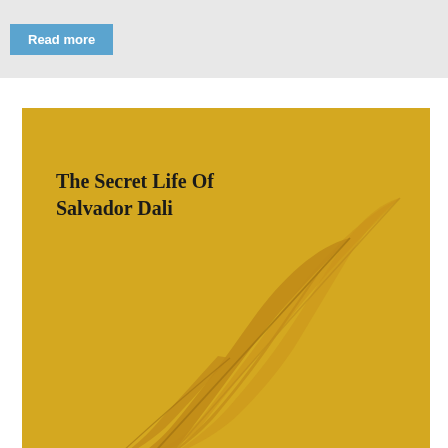Read more
[Figure (illustration): Book cover of 'The Secret Life Of Salvador Dali' with a golden/yellow background and decorative feather quill illustration in the lower right]
The Secret Life Of Salvador Dali